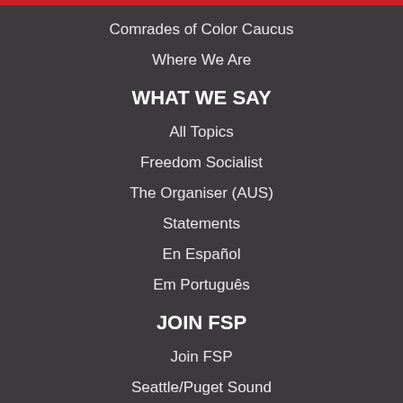Comrades of Color Caucus
Where We Are
WHAT WE SAY
All Topics
Freedom Socialist
The Organiser (AUS)
Statements
En Español
Em Português
JOIN FSP
Join FSP
Seattle/Puget Sound